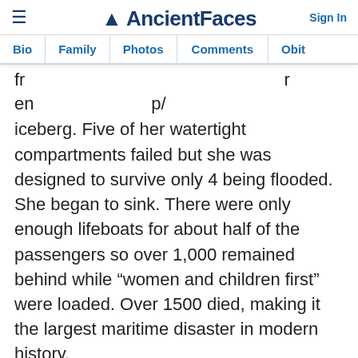AncientFaces — Sign In
Bio | Family | Photos | Comments | Obit
iceberg. Five of her watertight compartments failed but she was designed to survive only 4 being flooded. She began to sink. There were only enough lifeboats for about half of the passengers so over 1,000 remained behind while "women and children first" were loaded. Over 1500 died, making it the largest maritime disaster in modern history.
In 1927, by the time he was 38 years old, th... "talkie" (a movie with music, songs, and ta...). The Jazz Singer, was released. Al Jolson starred as a cantor's son who instead of following in his...